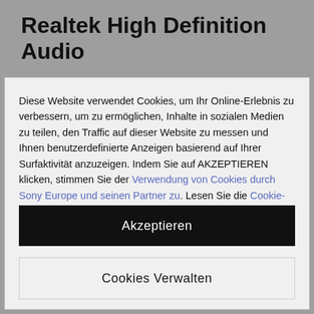Realtek High Definition Audio
Diese Website verwendet Cookies, um Ihr Online-Erlebnis zu verbessern, um zu ermöglichen, Inhalte in sozialen Medien zu teilen, den Traffic auf dieser Website zu messen und Ihnen benutzerdefinierte Anzeigen basierend auf Ihrer Surfaktivität anzuzeigen. Indem Sie auf AKZEPTIEREN klicken, stimmen Sie der Verwendung von Cookies durch Sony Europe und seinen Partner zu. Lesen Sie die Cookie-Richtlinien von Sony Europe, um mehr Informationen zu erhalten oder jederzeit Ihre Cookie-Einstellungen zu ändern.
Akzeptieren
Cookies Verwalten